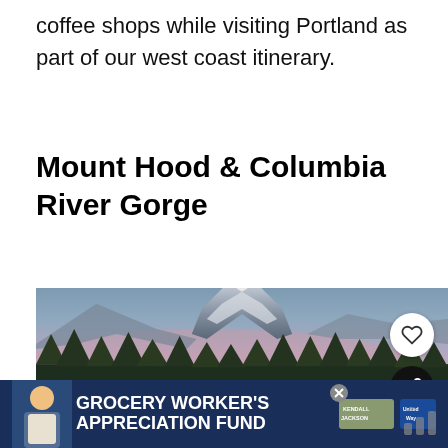coffee shops while visiting Portland as part of our west coast itinerary.
Mount Hood & Columbia River Gorge
[Figure (photo): Scenic photo of Mount Hood mountain with snow-capped peak, pine trees in foreground, and a purple-pink twilight sky. Overlaid UI elements include a heart/favorite button, a share button, and a 'What's Next' card showing 'The Best West Coast Trail...']
[Figure (infographic): Advertisement banner with blue background reading 'GROCERY WORKER'S APPRECIATION FUND' with Kendall Jackson and United Way logos]